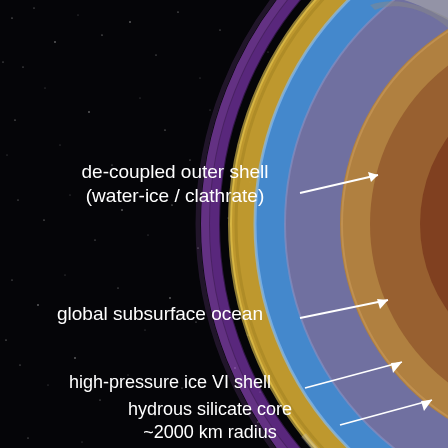[Figure (illustration): Scientific diagram of a moon's (likely Titan's) interior structure shown as a cross-section on the right side, with labeled layers against a starfield black background. Layers shown from outside in: de-coupled outer shell (water-ice/clathrate), global subsurface ocean, high-pressure ice VI shell, and hydrous silicate core ~2000 km radius. White arrows point from text labels on the left to the corresponding layers on the right.]